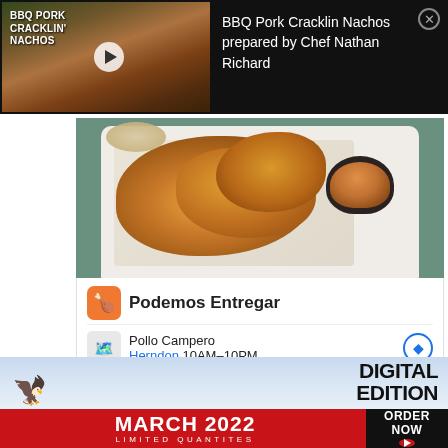[Figure (screenshot): Video thumbnail for BBQ Pork Cracklin Nachos with play button overlay and text label]
BBQ Pork Cracklin Nachos prepared by Chef Nathan Richard
[Figure (photo): Pollo Campero fried chicken nuggets on a white plate with dipping sauce, served on a teal surface]
Podemos Entregar
Pollo Campero
Herndon 10AM–10PM
[Figure (screenshot): Digital Edition banner with bird illustration and clouds background]
DIGITAL EDITION
MARCH 2022
LIMITED QUANTITES
ORDER NOW